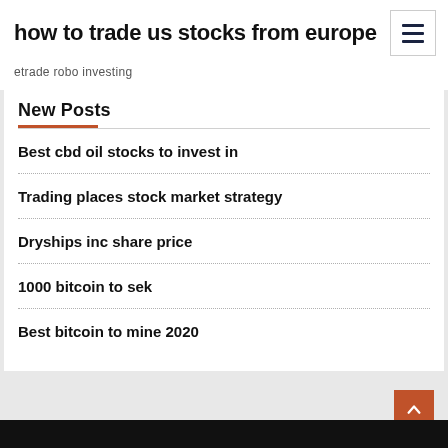how to trade us stocks from europe
etrade robo investing
New Posts
Best cbd oil stocks to invest in
Trading places stock market strategy
Dryships inc share price
1000 bitcoin to sek
Best bitcoin to mine 2020